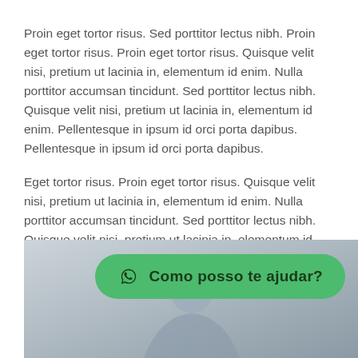Proin eget tortor risus. Sed porttitor lectus nibh. Proin eget tortor risus. Proin eget tortor risus. Quisque velit nisi, pretium ut lacinia in, elementum id enim. Nulla porttitor accumsan tincidunt. Sed porttitor lectus nibh. Quisque velit nisi, pretium ut lacinia in, elementum id enim. Pellentesque in ipsum id orci porta dapibus. Pellentesque in ipsum id orci porta dapibus.
Eget tortor risus. Proin eget tortor risus. Quisque velit nisi, pretium ut lacinia in, elementum id enim. Nulla porttitor accumsan tincidunt. Sed porttitor lectus nibh. Quisque velit nisi, pretium ut lacinia in, elementum id enim. Pellentesque in ipsum id orci porta dapibus. Pellentesque in ipsum id orci porta dapibus.
[Figure (photo): A photo of a person with a green WhatsApp-style chat button overlay reading 'Como posso te ajudar?' with a WhatsApp icon]